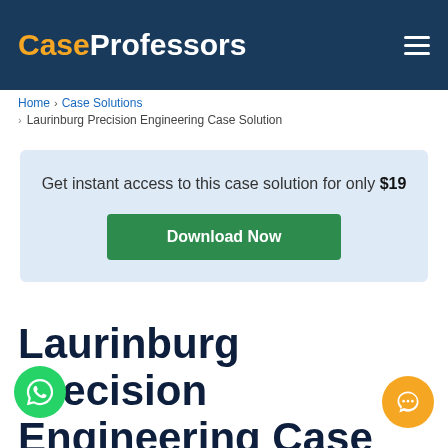CaseProfessors
Home › Case Solutions › Laurinburg Precision Engineering Case Solution
Get instant access to this case solution for only $19
Download Now
Laurinburg Precision Engineering Case Solution